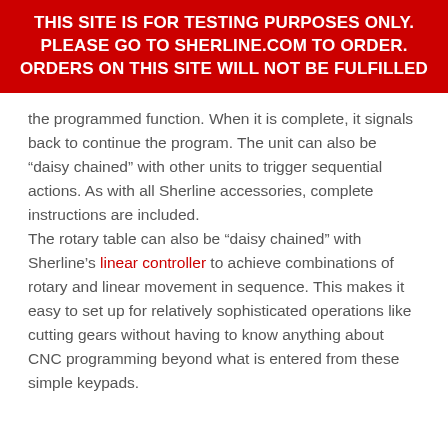THIS SITE IS FOR TESTING PURPOSES ONLY. PLEASE GO TO SHERLINE.COM TO ORDER. ORDERS ON THIS SITE WILL NOT BE FULFILLED
the programmed function. When it is complete, it signals back to continue the program. The unit can also be “daisy chained” with other units to trigger sequential actions. As with all Sherline accessories, complete instructions are included.
The rotary table can also be “daisy chained” with Sherline’s linear controller to achieve combinations of rotary and linear movement in sequence. This makes it easy to set up for relatively sophisticated operations like cutting gears without having to know anything about CNC programming beyond what is entered from these simple keypads.